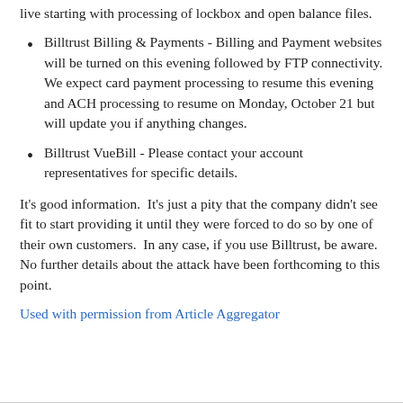live starting with processing of lockbox and open balance files.
Billtrust Billing & Payments - Billing and Payment websites will be turned on this evening followed by FTP connectivity. We expect card payment processing to resume this evening and ACH processing to resume on Monday, October 21 but will update you if anything changes.
Billtrust VueBill - Please contact your account representatives for specific details.
It's good information.  It's just a pity that the company didn't see fit to start providing it until they were forced to do so by one of their own customers.  In any case, if you use Billtrust, be aware.  No further details about the attack have been forthcoming to this point.
Used with permission from Article Aggregator